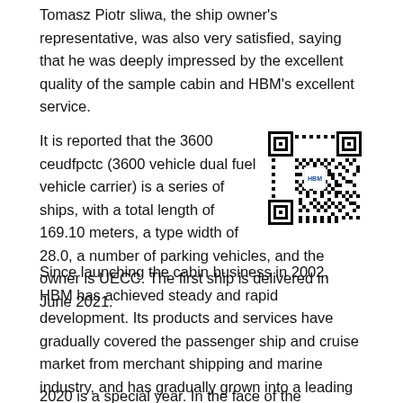Tomasz Piotr sliwa, the ship owner's representative, was also very satisfied, saying that he was deeply impressed by the excellent quality of the sample cabin and HBM's excellent service.
It is reported that the 3600 ceudfpctc (3600 vehicle dual fuel vehicle carrier) is a series of ships, with a total length of 169.10 meters, a type width of 28.0, a number of parking vehicles, and the owner is UECC. The first ship is delivered in June 2021.
[Figure (other): QR code image with HBM logo in center]
Since launching the cabin business in 2002, HBM has achieved steady and rapid development. Its products and services have gradually covered the passenger ship and cruise market from merchant shipping and marine industry, and has gradually grown into a leading domestic and internationally influential supplier of the whole cabin.
2020 is a special year. In the face of the epidemic situation test,